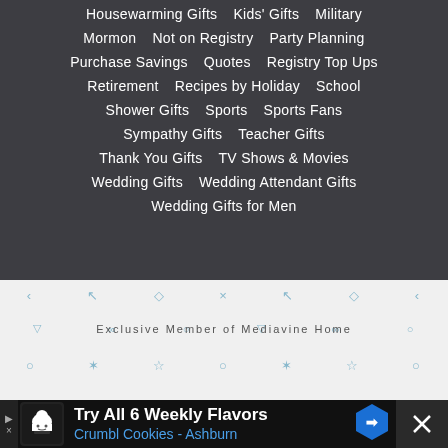Housewarming Gifts   Kids' Gifts   Military
Mormon   Not on Registry   Party Planning
Purchase Savings   Quotes   Registry Top Ups
Retirement   Recipes by Holiday   School
Shower Gifts   Sports   Sports Fans
Sympathy Gifts   Teacher Gifts
Thank You Gifts   TV Shows & Movies
Wedding Gifts   Wedding Attendant Gifts
Wedding Gifts for Men
[Figure (infographic): Decorative pattern area with geometric symbols and 'Exclusive Member of Mediavine Home' text on light grey background]
[Figure (screenshot): Advertisement bar: Try All 6 Weekly Flavors - Crumbl Cookies - Ashburn with chef logo and blue navigation arrow]